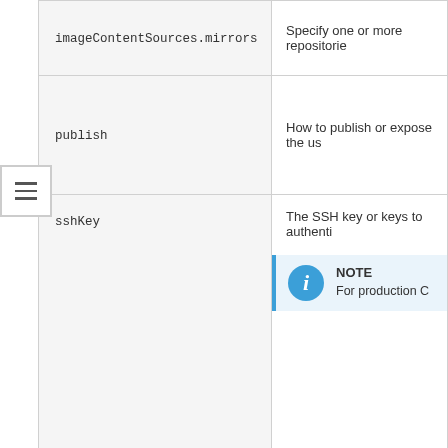| Parameter | Description |
| --- | --- |
| imageContentSources.mirrors | Specify one or more repositorie |
| publish | How to publish or expose the us |
| sshKey | The SSH key or keys to authenti
NOTE
For production C |
Sample install-config.yaml file for bare metal
You can customize the install-config.yaml file to